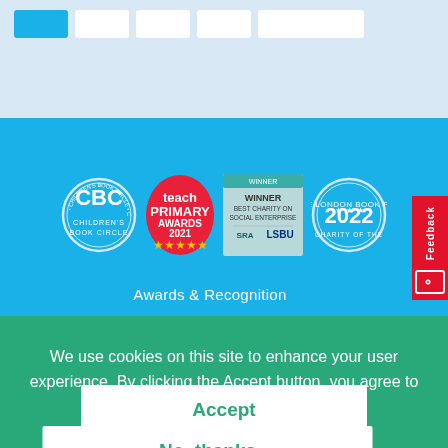[Figure (other): Navigation tabs at top, light blue background header section with nav tab buttons]
[Figure (other): Awards and Recognition section on cyan/blue background with 4 award badges: CBC Children's Book Circle, Teach Primary Awards 2021 (5 stars), Winner Best Charity on Social Enterprise (SRA LSBU), The London Book Fair Charity of the Year 2022]
Awards & Recognition
[Figure (other): Red Feedback tab on the right side]
We use cookies on this site to enhance your user experience. By clicking the Accept button, you agree to us doing so.
Accept
No, thanks